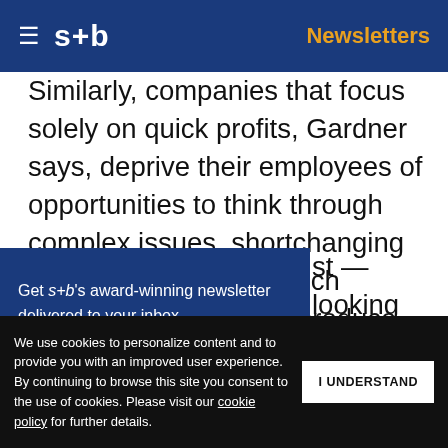s+b  Newsletters
Similarly, companies that focus solely on quick profits, Gardner says, deprive their employees of opportunities to think through complex issues, shortchanging their mental growth. Such companies can rarely produce the sustained innovation that comes only from the unfettered minds of an engaged workforce.
Get s+b's award-winning newsletter delivered to your inbox.
st — looking
ot only do we
We use cookies to personalize content and to provide you with an improved user experience. By continuing to browse this site you consent to the use of cookies. Please visit our cookie policy for further details.